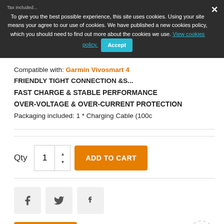Tax included...
To give you the best possible experience, this site uses cookies. Using your site means your agree to our use of cookies. We have published a new cookies policy, which you should need to find out more about the cookies we use. View cookies policy. Accept
Compatible with: Garmin Vivosmart 4
FRIENDLY TIGHT CONNECTION &S...
FAST CHARGE & STABLE PERFORMANCE
OVER-VOLTAGE & OVER-CURRENT PROTECTION
Packaging included: 1 * Charging Cable (100c
Qty  1  ADD TO CART
[Figure (other): Social share buttons: Facebook, Twitter, Pinterest]
COMPARE
[Figure (other): Scroll to top button with up arrow]
Safe and Secure Payment